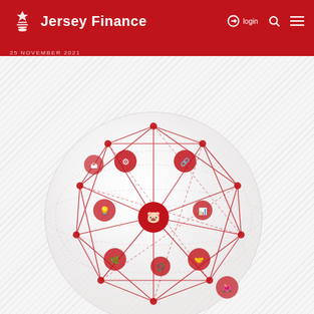Jersey Finance — login
25 November 2021
[Figure (illustration): A globe-shaped network diagram with red nodes connected by red lines, featuring icons such as a piggy bank, puzzle pieces, gears, coins, and other financial/service icons arranged on the surface of a translucent spherical shape. The globe sits on a light grey diagonal-striped background.]